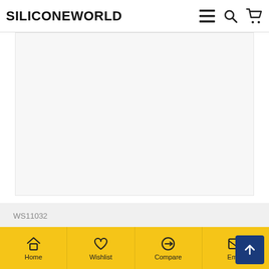SiliconeWorld
[Figure (photo): Product image area (white/light gray background, product not loaded)]
WS11032
Arua Thin Silicone Wedding Rings for Women 6-Pack Stackable Silicone Rings, Diamond Pattern ? Fashion Rubber Wedding Bands
US$7.67  US$10.95
Home  Wishlist  Compare  Email